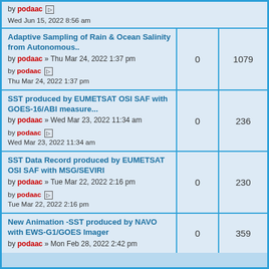by podaac Wed Jun 15, 2022 8:56 am
Adaptive Sampling of Rain & Ocean Salinity from Autonomous.. by podaac » Thu Mar 24, 2022 1:37 pm | 0 replies | 1079 views | by podaac Thu Mar 24, 2022 1:37 pm
SST produced by EUMETSAT OSI SAF with GOES-16/ABI measure... by podaac » Wed Mar 23, 2022 11:34 am | 0 replies | 236 views | by podaac Wed Mar 23, 2022 11:34 am
SST Data Record produced by EUMETSAT OSI SAF with MSG/SEVIRI by podaac » Tue Mar 22, 2022 2:16 pm | 0 replies | 230 views | by podaac Tue Mar 22, 2022 2:16 pm
New Animation -SST produced by NAVO with EWS-G1/GOES Imager by podaac » Mon Feb 28, 2022 2:42 pm | 0 replies | 359 views